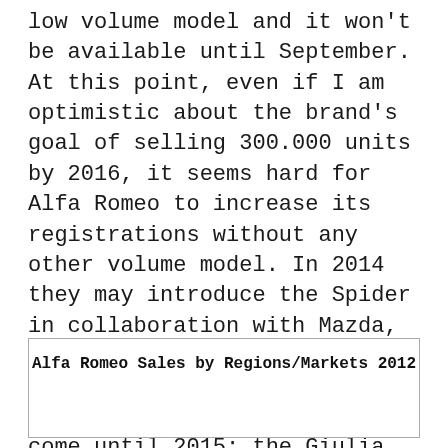low volume model and it won't be available until September. At this point, even if I am optimistic about the brand's goal of selling 300.000 units by 2016, it seems hard for Alfa Romeo to increase its registrations without any other volume model. In 2014 they may introduce the Spider in collaboration with Mazda, but once again it is not a massive product. The models to make the difference won't come until 2015: the Giulia and C-SUV. In other words, Alfa Romeo needs to work quickly and anticipate those launches.
| Alfa Romeo Sales by Regions/Markets 2012 |
| --- |